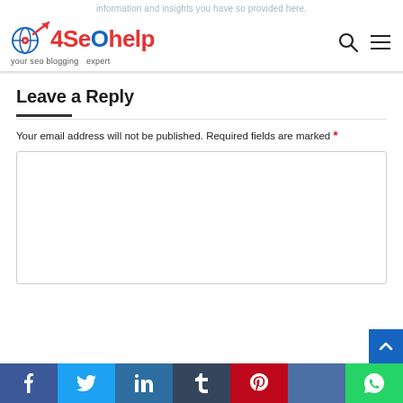information and insights you have so provided here.
[Figure (logo): 4SEOhelp logo with globe icon and arrow, tagline: your seo blogging expert]
Leave a Reply
Your email address will not be published. Required fields are marked *